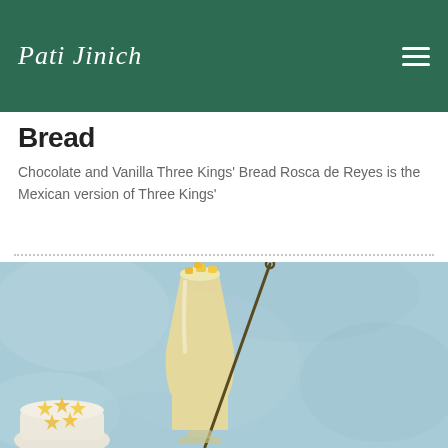Pati Jinich
Bread
Chocolate and Vanilla Three Kings' Bread Rosca de Reyes is the Mexican version of Three Kings'
[Figure (photo): A creamy pale yellow smoothie or milkshake in a hurricane glass with a metal straw and pineapple chunks on top, against a light blue textured background. A small bowl of star-shaped pineapple pieces is visible at the bottom left.]